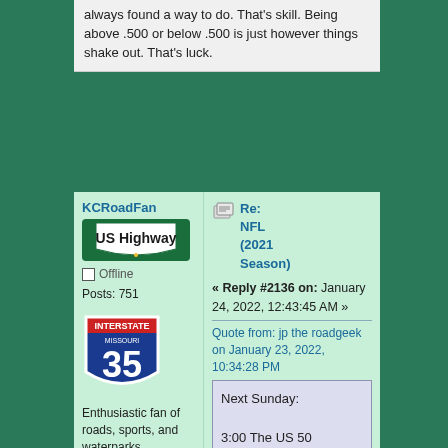always found a way to do. That's skill. Being above .500 or below .500 is just however things shake out. That's luck.
KCRoadFan
Offline
Posts: 751
Enthusiastic fan of roads, sports, and waterparks.
Age: 29
Location: Kansas City, MO
Last Login: Today at 01:15:28 AM
Re: NFL (2021 Season)
« Reply #2136 on: January 24, 2022, 12:43:45 AM »
Quote from: jp the roadgeek on January 23, 2022, 10:34:28 PM
Next Sunday:
3:00 The US 50 Championship
6:40 The US 101 Championship
Good one!
Logged